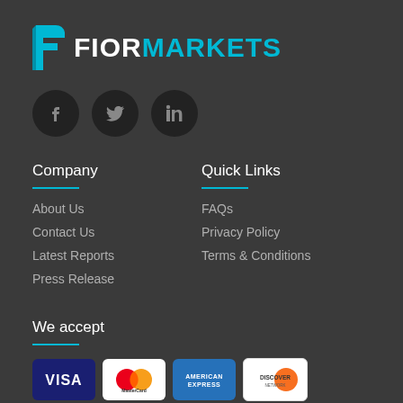[Figure (logo): Fior Markets logo with stylized F icon in teal/white, text FIOR in white and MARKETS in teal]
[Figure (infographic): Three social media icon circles (Facebook, Twitter, LinkedIn) on dark background]
Company
About Us
Contact Us
Latest Reports
Press Release
Quick Links
FAQs
Privacy Policy
Terms & Conditions
We accept
[Figure (infographic): Payment method logos: VISA, MasterCard, American Express, Discover Network]